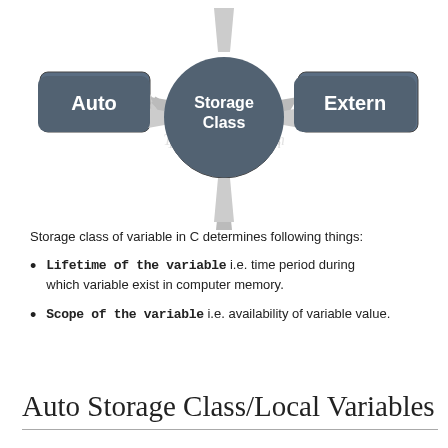[Figure (flowchart): A diagram showing four components connecting to a central circle labeled 'Storage Class'. Rounded rectangles labeled 'Auto' (left) and 'Extern' (right) with arrows pointing to the center. Additional arrows point from top and bottom to the center circle. The watermark 'TrytoProgram.com' appears faintly in the background.]
Storage class of variable in C determines following things:
Lifetime of the variable i.e. time period during which variable exist in computer memory.
Scope of the variable i.e. availability of variable value.
Auto Storage Class/Local Variables